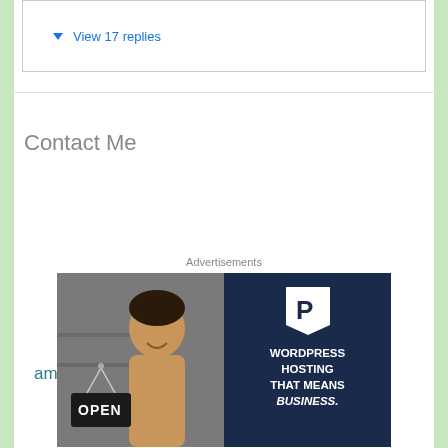[Figure (screenshot): Screenshot of a web comment section with a 'View 17 replies' link]
Contact Me
amukhopadhyay02@gmail.com
Advertisements
[Figure (photo): WordPress hosting advertisement banner showing a person holding an OPEN sign on the left and text 'WORDPRESS HOSTING THAT MEANS BUSINESS.' on a dark navy background on the right, with a P logo]